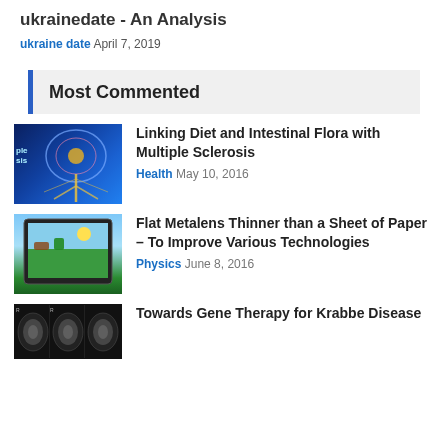ukrainedate - An Analysis
ukraine date  April 7, 2019
Most Commented
[Figure (photo): Blue-toned medical illustration of human brain and nervous system from side profile]
Linking Diet and Intestinal Flora with Multiple Sclerosis
Health  May 10, 2016
[Figure (photo): Hands holding a tablet showing a colorful video game]
Flat Metalens Thinner than a Sheet of Paper – To Improve Various Technologies
Physics  June 8, 2016
[Figure (photo): MRI brain scans in grayscale showing three cross-sections]
Towards Gene Therapy for Krabbe Disease